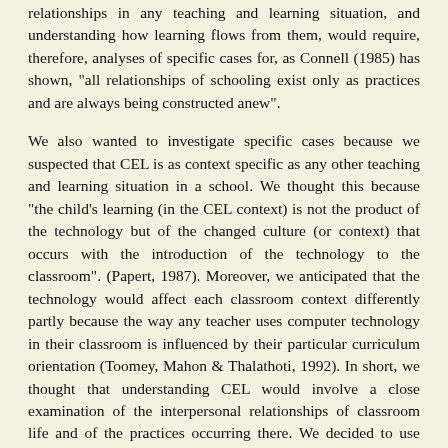relationships in any teaching and learning situation, and understanding how learning flows from them, would require, therefore, analyses of specific cases for, as Connell (1985) has shown, "all relationships of schooling exist only as practices and are always being constructed anew".
We also wanted to investigate specific cases because we suspected that CEL is as context specific as any other teaching and learning situation in a school. We thought this because "the child's learning (in the CEL context) is not the product of the technology but of the changed culture (or context) that occurs with the introduction of the technology to the classroom". (Papert, 1987). Moreover, we anticipated that the technology would affect each classroom context differently partly because the way any teacher uses computer technology in their classroom is influenced by their particular curriculum orientation (Toomey, Mahon & Thalathoti, 1992). In short, we thought that understanding CEL would involve a close examination of the interpersonal relationships of classroom life and of the practices occurring there. We decided to use teacher research (Stenhouse 1976, Elliott 1991) as a way of investigating 'close up" the interpersonal relationships within the classrooms involved in the project and of studying how those relationships seemed to be shaping CEL.
Teacher research involves teachers in a systematic, collaborative and detailed study of their work environment. Its process of